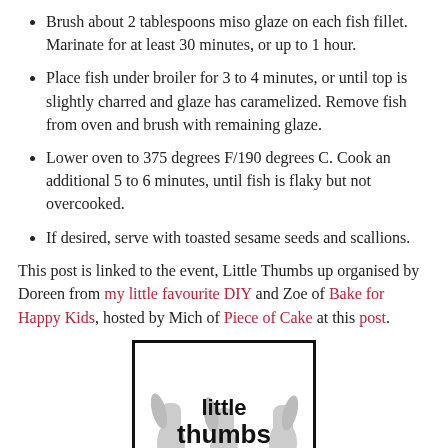Brush about 2 tablespoons miso glaze on each fish fillet. Marinate for at least 30 minutes, or up to 1 hour.
Place fish under broiler for 3 to 4 minutes, or until top is slightly charred and glaze has caramelized. Remove fish from oven and brush with remaining glaze.
Lower oven to 375 degrees F/190 degrees C. Cook an additional 5 to 6 minutes, until fish is flaky but not overcooked.
If desired, serve with toasted sesame seeds and scallions.
This post is linked to the event, Little Thumbs up organised by Doreen from my little favourite DIY and Zoe of Bake for Happy Kids, hosted by Mich of Piece of Cake at this post.
[Figure (photo): Logo image for 'little thumbs' event showing hands with thumbs up and the text 'little thumbs' in black font on white background with black border]